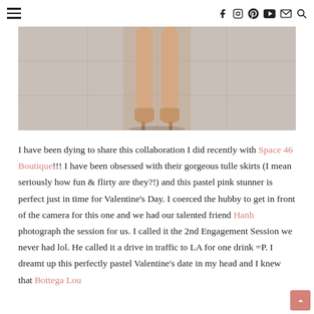≡  f  Instagram  Pinterest  YouTube  ✉  🔍
[Figure (photo): Cropped photo showing a woman's legs in nude heels standing on a concrete pavement surface]
I have been dying to share this collaboration I did recently with Space 46 Boutique!!! I have been obsessed with their gorgeous tulle skirts (I mean seriously how fun & flirty are they?!) and this pastel pink stunner is perfect just in time for Valentine's Day. I coerced the hubby to get in front of the camera for this one and we had our talented friend Hanh photograph the session for us. I called it the 2nd Engagement Session we never had lol. He called it a drive in traffic to LA for one drink =P. I dreamt up this perfectly pastel Valentine's date in my head and I knew that Bottega Lou